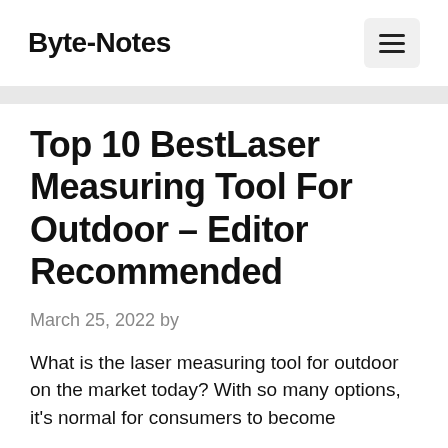Byte-Notes
Top 10 BestLaser Measuring Tool For Outdoor – Editor Recommended
March 25, 2022 by
What is the laser measuring tool for outdoor on the market today? With so many options, it's normal for consumers to become